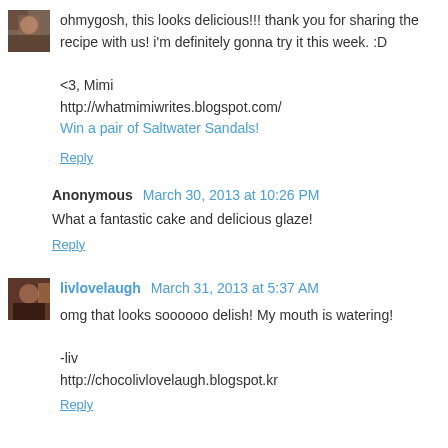[Figure (photo): Small avatar photo of a user, brown tones]
ohmygosh, this looks delicious!!! thank you for sharing the recipe with us! i'm definitely gonna try it this week. :D

<3, Mimi
http://whatmimiwrites.blogspot.com/
Win a pair of Saltwater Sandals!
Reply
Anonymous March 30, 2013 at 10:26 PM
What a fantastic cake and delicious glaze!
Reply
[Figure (photo): Small avatar photo of livlovelaugh user]
livlovelaugh March 31, 2013 at 5:37 AM
omg that looks soooooo delish! My mouth is watering!

-liv
http://chocolivlovelaugh.blogspot.kr
Reply